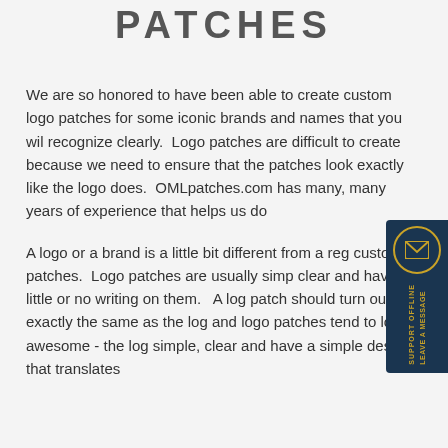PATCHES
We are so honored to have been able to create custom logo patches for some iconic brands and names that you wil recognize clearly.  Logo patches are difficult to create because we need to ensure that the patches look exactly like the logo does.  OMLpatches.com has many, many years of experience that helps us do
A logo or a brand is a little bit different from a regular custom patches.  Logo patches are usually simple, clear and have little or no writing on them.   A logo patch should turn out exactly the same as the logo and logo patches tend to look awesome - the logo simple, clear and have a simple design that translates
[Figure (other): Support offline chat widget — dark navy blue vertical button on right side with envelope icon and rotated text reading 'SUPPORT OFFLINE LEAVE A MESSAGE']